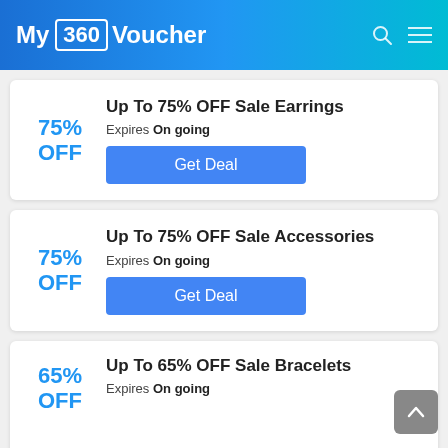My 360 Voucher
Up To 75% OFF Sale Earrings
Expires On going
[Get Deal] 75% OFF
Up To 75% OFF Sale Accessories
Expires On going
[Get Deal] 75% OFF
Up To 65% OFF Sale Bracelets
Expires On going
65% OFF